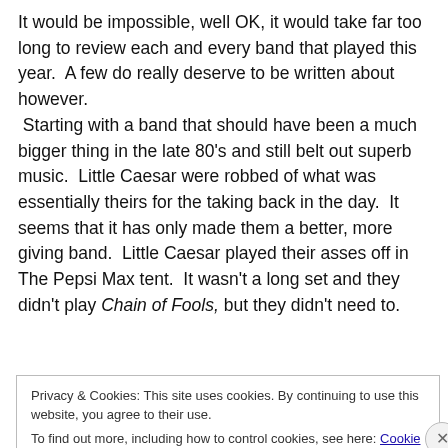It would be impossible, well OK, it would take far too long to review each and every band that played this year.  A few do really deserve to be written about however.  Starting with a band that should have been a much bigger thing in the late 80's and still belt out superb music.  Little Caesar were robbed of what was essentially theirs for the taking back in the day.  It seems that it has only made them a better, more giving band.  Little Caesar played their asses off in The Pepsi Max tent.  It wasn't a long set and they didn't play Chain of Fools, but they didn't need to.
Privacy & Cookies: This site uses cookies. By continuing to use this website, you agree to their use.
To find out more, including how to control cookies, see here: Cookie Policy